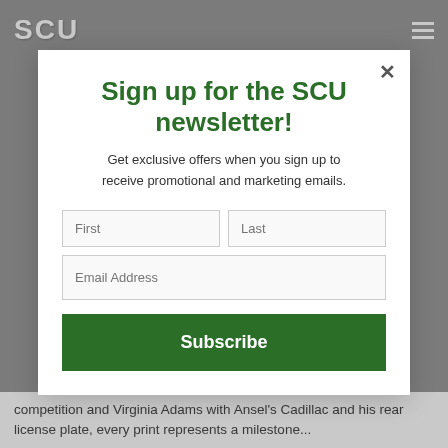SCU
Sign up for the SCU newsletter!
Get exclusive offers when you sign up to receive promotional and marketing emails.
competition and Virginia Adams with Ansel's Cadillac and his rear license plate, every print represents a milestone...